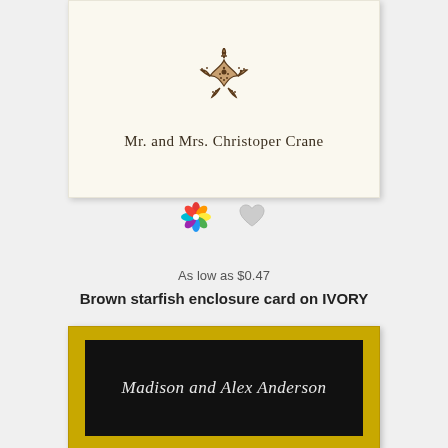[Figure (photo): Ivory enclosure card with a brown starfish illustration at the top and the text 'Mr. and Mrs. Christoper Crane' in serif font below]
[Figure (illustration): Two icons: a colorful pinwheel/flower icon and a gray heart icon]
As low as $0.47
Brown starfish enclosure card on IVORY
[Figure (photo): Black enclosure card with gold/yellow border and the text 'Madison and Alex Anderson' in white italic script]